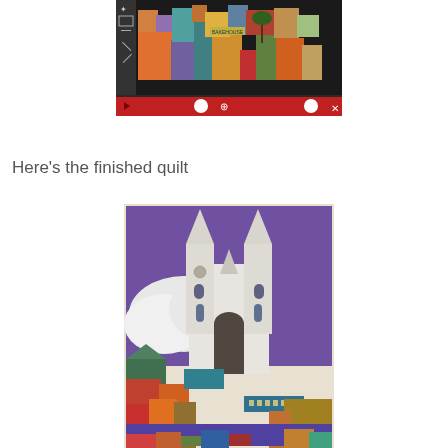[Figure (screenshot): Screenshot of a digital illustration software showing a colorful stylized cityscape with buildings in various colors including orange, yellow, teal, red, purple on a dark background interface with a red playback bar at the bottom.]
Here’s the finished quilt
[Figure (photo): Photo of a finished quilt depicting a stylized cityscape with a large white cathedral with two spires against a purple sky with white clouds, surrounded by colorful buildings in orange, red, teal, green, and other colors in the foreground.]